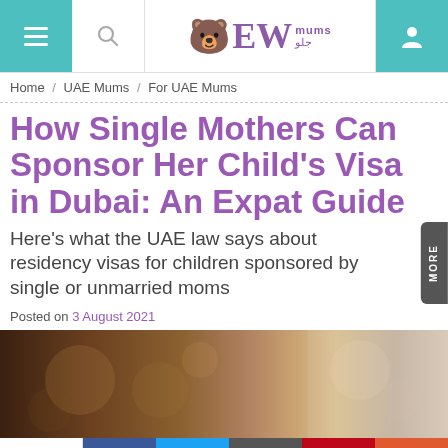EW Mums - Home / UAE Mums / For UAE Mums
How Single Mothers Can Sponsor Her Child's Visa in Dubai: An Expat Guide
Here's what the UAE law says about residency visas for children sponsored by single or unmarried moms
Posted on 3 August 2021
[Figure (photo): Blurred bokeh photo background, dark warm tones on left, lighter tones on right]
12 SHARES